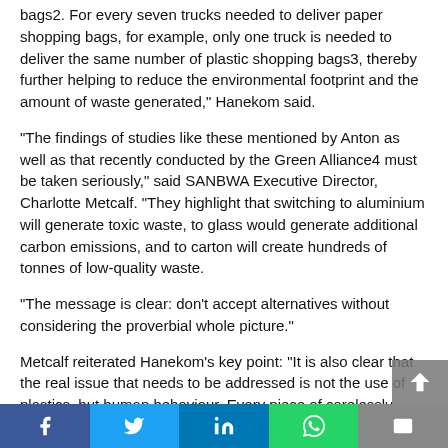bags2. For every seven trucks needed to deliver paper shopping bags, for example, only one truck is needed to deliver the same number of plastic shopping bags3, thereby further helping to reduce the environmental footprint and the amount of waste generated," Hanekom said.
"The findings of studies like these mentioned by Anton as well as that recently conducted by the Green Alliance4 must be taken seriously," said SANBWA Executive Director, Charlotte Metcalf. "They highlight that switching to aluminium will generate toxic waste, to glass would generate additional carbon emissions, and to carton will create hundreds of tonnes of low-quality waste.
"The message is clear: don't accept alternatives without considering the proverbial whole picture."
Metcalf reiterated Hanekom's key point: "It is also clear that the real issue that needs to be addressed is not the use of plastics, but human behaviour. Every piece of carelessly discarded litter has the potential of ending up in the environment or polluting our oceans. Municipalities that fail to put an effective waste management
Facebook Twitter LinkedIn WhatsApp Email